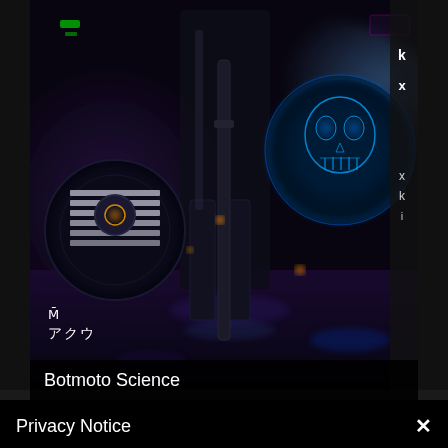[Figure (illustration): A sci-fi cyberpunk scene featuring a dark robotic/mechanical figure with glowing elements, blue holographic skull-like display on the right, purple and blue lighting, reflective floor, Japanese text watermark in lower left reading アクウ with a stylized M kanji above it]
Botmoto Science
Privacy Notice
This site uses cookies to deliver the best experience. Our own cookies make user accounts and other features possible. Third-party cookies are used to display relevant ads and to analyze how Renderosity is used. By using our site, you acknowledge that you have read and understood our Terms of Service, including our Cookie Policy and our Privacy Policy.